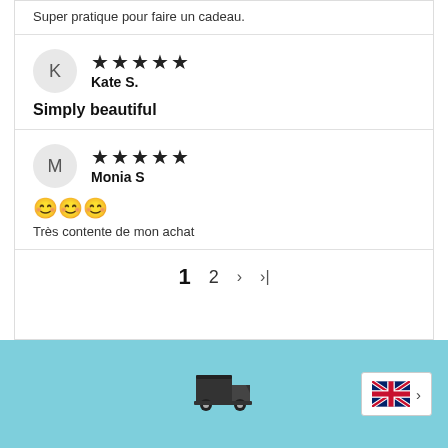Super pratique pour faire un cadeau.
K
Kate S.
Simply beautiful
M
Monia S
😊😊😊
Très contente de mon achat
1  2  >  >|
[Figure (other): Footer bar with light blue background, a truck icon in the center, and a UK flag language selector on the right with an arrow.]